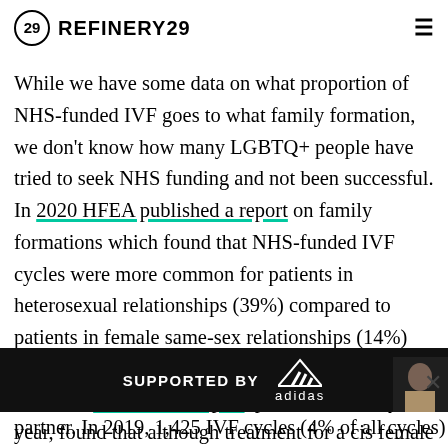REFINERY29
While we have some data on what proportion of NHS-funded IVF goes to what family formation, we don't know how many LGBTQ+ people have tried to seek NHS funding and not been successful. In 2020 HFEA published a report on family formations which found that NHS-funded IVF cycles were more common for patients in heterosexual relationships (39%) compared to patients in female same-sex relationships (14%) and single patients (6%), varying considerably by nation. A more recent report, published in May this year, found that although treatment for a cis female with a cis male still dominates in IVF (94% in 2019), there is an increasing number of cycles involving patients...partner. In 2019, 1,425 IVF cycles (4% of all cycles)
[Figure (other): Adidas advertisement banner: black bar with 'SUPPORTED BY' text and Adidas logo with athlete photo on right]